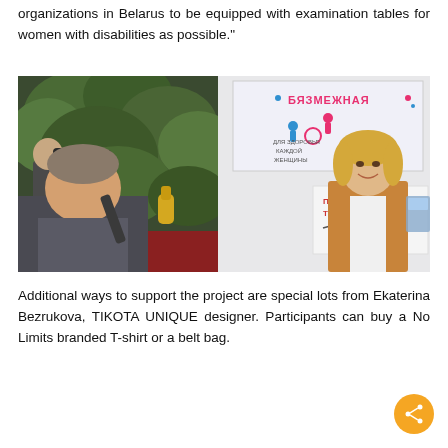organizations in Belarus to be equipped with examination tables for women with disabilities as possible."
[Figure (photo): A woman being interviewed by a TV cameraman at an event. In the background is a banner reading 'БЯЗМЕЖНАЯ' (No Limits) and 'HI-TECH PARK'. A person in the foreground is holding a microphone toward the woman.]
Additional ways to support the project are special lots from Ekaterina Bezrukova, TIKOTA UNIQUE designer. Participants can buy a No Limits branded T-shirt or a belt bag.